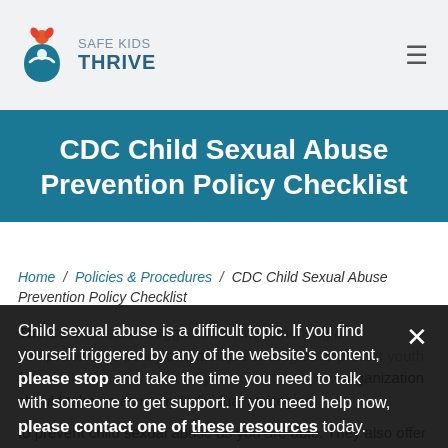SAFE KIDS THRIVE
CDC Child Sexual Abuse Prevention Policy Checklist
Home / Policies & Procedures / CDC Child Sexual Abuse Prevention Policy Checklist
Child sexual abuse is a difficult topic. If you find yourself triggered by any of the website's content, please stop and take the time you need to talk with someone to get support. If you need help now, please contact one of these resources today.
to prevent child sexual abuse as you are able. They also offer several steps—paraphrased below—to help your